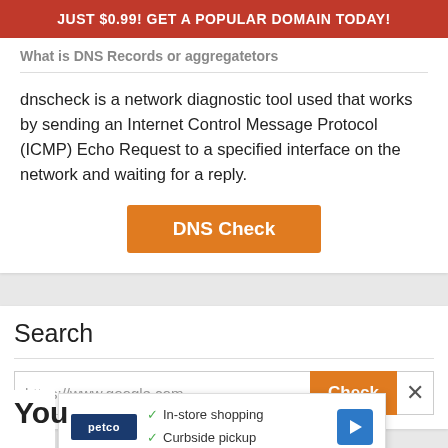JUST $0.99! GET A POPULAR DOMAIN TODAY!
What is DNS Records or aggregatetors
dnscheck is a network diagnostic tool used that works by sending an Internet Control Message Protocol (ICMP) Echo Request to a specified interface on the network and waiting for a reply.
[Figure (other): Orange button labeled DNS Check]
Search
[Figure (screenshot): Search input field with https://www.google.com and orange Check button with X close button]
[Figure (screenshot): Dropdown showing Petco logo with In-store shopping and Curbside pickup checkmarks and navigation icon]